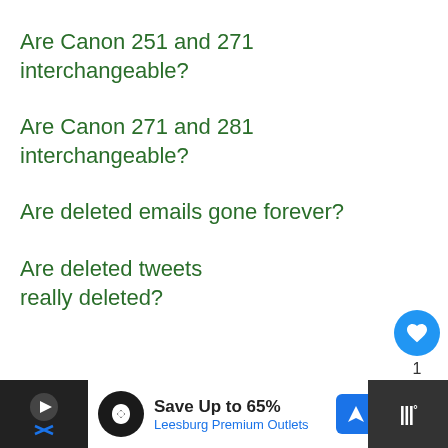Are Canon 251 and 271 interchangeable?
Are Canon 271 and 281 interchangeable?
Are deleted emails gone forever?
Are deleted tweets really deleted?
[Figure (screenshot): Advertisement banner: Save Up to 65% Leesburg Premium Outlets with navigation icon and app icon]
WHAT'S NEXT → How To Turn On Selling...